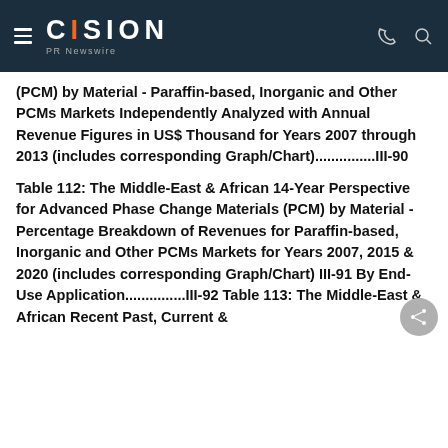CISION PR Newswire
(PCM) by Material - Paraffin-based, Inorganic and Other PCMs Markets Independently Analyzed with Annual Revenue Figures in US$ Thousand for Years 2007 through 2013 (includes corresponding Graph/Chart)...............III-90
Table 112: The Middle-East & African 14-Year Perspective for Advanced Phase Change Materials (PCM) by Material - Percentage Breakdown of Revenues for Paraffin-based, Inorganic and Other PCMs Markets for Years 2007, 2015 & 2020 (includes corresponding Graph/Chart) III-91 By End-Use Application...............III-92 Table 113: The Middle-East & African Recent Past, Current &